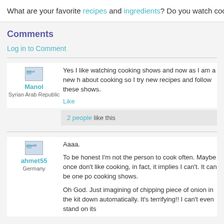What are your favorite recipes and ingredients? Do you watch cooking shows o...
Comments
Log in to Comment
Yes I like watching cooking shows and now as I am a new h... about cooking so I try new recipes and follow these shows.
Like
2 people like this
Aaaa.
To be honest I'm not the person to cook often. Maybe once... don't like cooking, in fact, it implies I can't. It can be one po... cooking shows.
Oh God. Just imagining of chipping piece of onion in the kit... down automatically. It's terrifying!! I can't even stand on its...